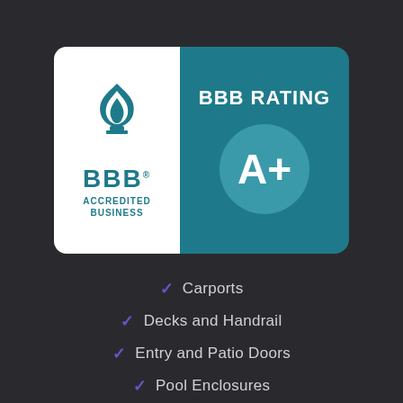[Figure (logo): BBB Accredited Business logo with A+ rating badge on teal background card]
Carports
Decks and Handrail
Entry and Patio Doors
Pool Enclosures